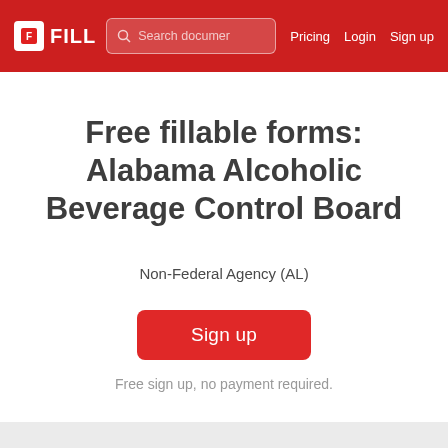FILL | Search documer | Pricing | Login | Sign up
Free fillable forms: Alabama Alcoholic Beverage Control Board
Non-Federal Agency (AL)
Sign up
Free sign up, no payment required.